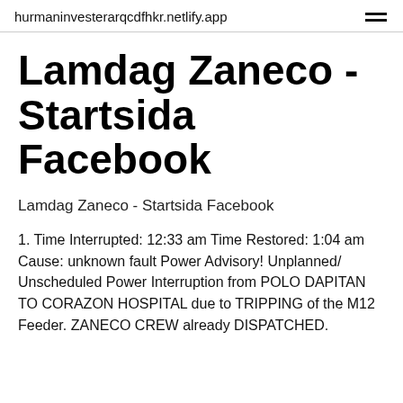hurmaninvesterarqcdfhkr.netlify.app
Lamdag Zaneco - Startsida Facebook
Lamdag Zaneco - Startsida Facebook
1. Time Interrupted: 12:33 am Time Restored: 1:04 am Cause: unknown fault Power Advisory! Unplanned/ Unscheduled Power Interruption from POLO DAPITAN TO CORAZON HOSPITAL due to TRIPPING of the M12 Feeder. ZANECO CREW already DISPATCHED.